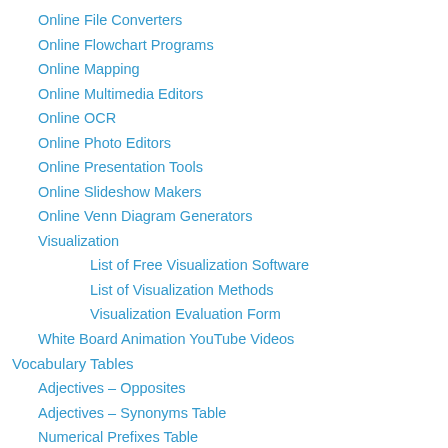Online File Converters
Online Flowchart Programs
Online Mapping
Online Multimedia Editors
Online OCR
Online Photo Editors
Online Presentation Tools
Online Slideshow Makers
Online Venn Diagram Generators
Visualization
List of Free Visualization Software
List of Visualization Methods
Visualization Evaluation Form
White Board Animation YouTube Videos
Vocabulary Tables
Adjectives – Opposites
Adjectives – Synonyms Table
Numerical Prefixes Table
Prefix Table
Suffix Table